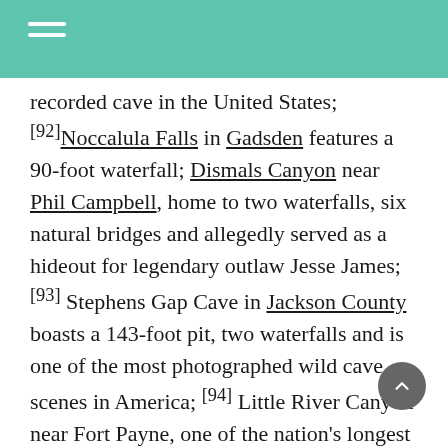recorded cave in the United States; [92]Noccalula Falls in Gadsden features a 90-foot waterfall; Dismals Canyon near Phil Campbell, home to two waterfalls, six natural bridges and allegedly served as a hideout for legendary outlaw Jesse James;[93] Stephens Gap Cave in Jackson County boasts a 143-foot pit, two waterfalls and is one of the most photographed wild cave scenes in America; [94] Little River Canyon near Fort Payne, one of the nation's longest mountaintop rivers; Rickwood Caverns near Warrior features an underground pool, blind cave fish and 260- million-year-old limestone formations and